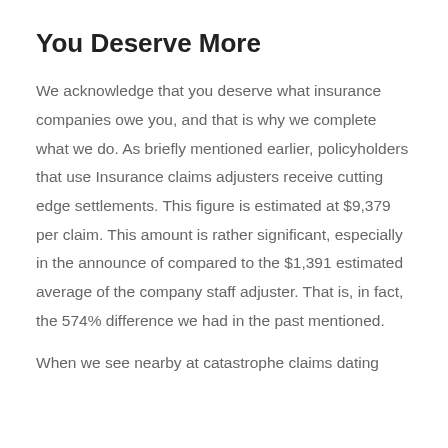You Deserve More
We acknowledge that you deserve what insurance companies owe you, and that is why we complete what we do. As briefly mentioned earlier, policyholders that use Insurance claims adjusters receive cutting edge settlements. This figure is estimated at $9,379 per claim. This amount is rather significant, especially in the announce of compared to the $1,391 estimated average of the company staff adjuster. That is, in fact, the 574% difference we had in the past mentioned.
When we see nearby at catastrophe claims dating